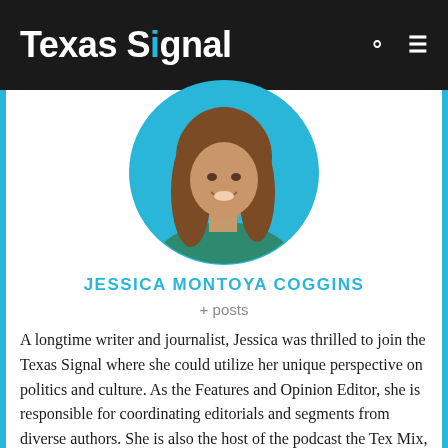Texas Signal
[Figure (photo): Circular profile photo of Jessica Montoya Coggins, a woman with long brown hair, smiling, against a blue background]
JESSICA MONTOYA COGGINS
+ posts
A longtime writer and journalist, Jessica was thrilled to join the Texas Signal where she could utilize her unique perspective on politics and culture. As the Features and Opinion Editor, she is responsible for coordinating editorials and segments from diverse authors. She is also the host of the podcast the Tex Mix, as well as the co-